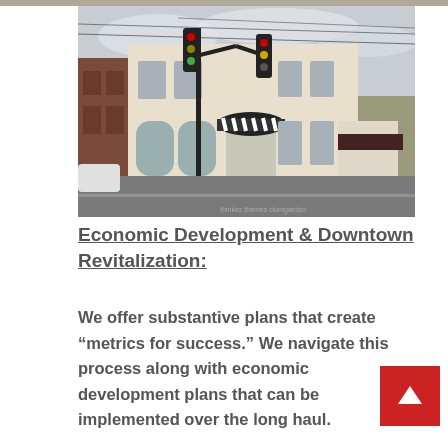[Figure (photo): Street-level photograph of a two-story light-colored brick commercial building on a corner, with traffic lights, black street lamp pole, striped awning, and dark road in the foreground. Overcast sky visible.]
Economic Development & Downtown Revitalization:
We offer substantive plans that create “metrics for success.” We navigate this process along with economic development plans that can be implemented over the long haul.